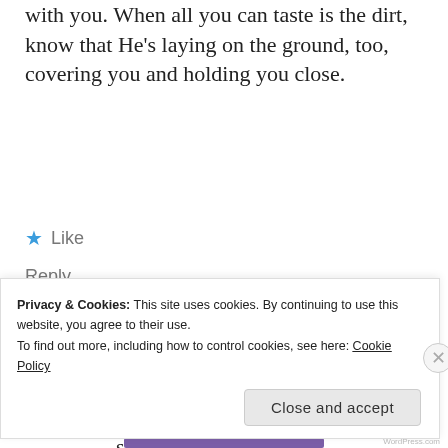with you. When all you can taste is the dirt, know that He's laying on the ground, too, covering you and holding you close.
★ Like
Reply
Andrew Budek-Schmeisser says:
August 13, 2017 at 10:11 pm
Marie, you're the best, and I don't say that lightly.
Privacy & Cookies: This site uses cookies. By continuing to use this website, you agree to their use. To find out more, including how to control cookies, see here: Cookie Policy